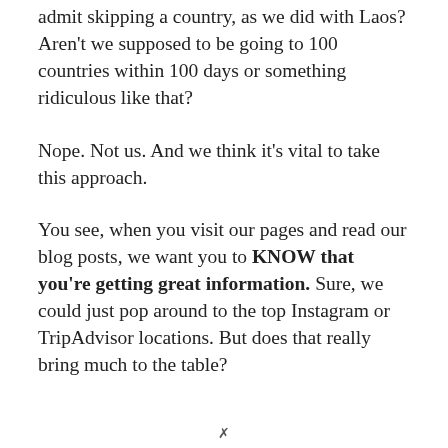admit skipping a country, as we did with Laos? Aren't we supposed to be going to 100 countries within 100 days or something ridiculous like that?
Nope. Not us. And we think it's vital to take this approach.
You see, when you visit our pages and read our blog posts, we want you to KNOW that you're getting great information. Sure, we could just pop around to the top Instagram or TripAdvisor locations. But does that really bring much to the table?
✗